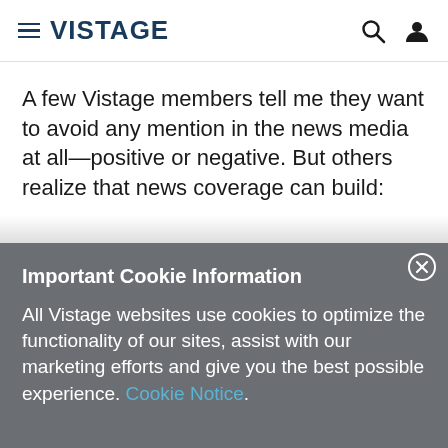VISTAGE
A few Vistage members tell me they want to avoid any mention in the news media at all—positive or negative. But others realize that news coverage can build:
Important Cookie Information
All Vistage websites use cookies to optimize the functionality of our sites, assist with our marketing efforts and give you the best possible experience. Cookie Notice.